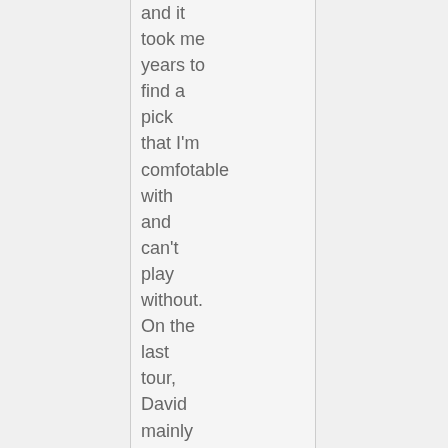and it took me years to find a pick that I'm comfotable with and can't play without. On the last tour, David mainly used Herco Flex